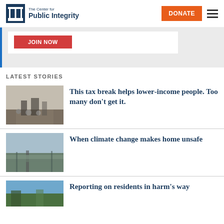The Center for Public Integrity
[Figure (screenshot): Partially visible banner with a red 'Join Now' button on white background, inside a blue left-bordered gray area]
LATEST STORIES
[Figure (photo): People walking in front of a large stone building entrance]
This tax break helps lower-income people. Too many don't get it.
[Figure (photo): A canal or waterway with trees and buildings in a cloudy day]
When climate change makes home unsafe
[Figure (photo): Partially visible photo, trees and blue sky]
Reporting on residents in harm's way